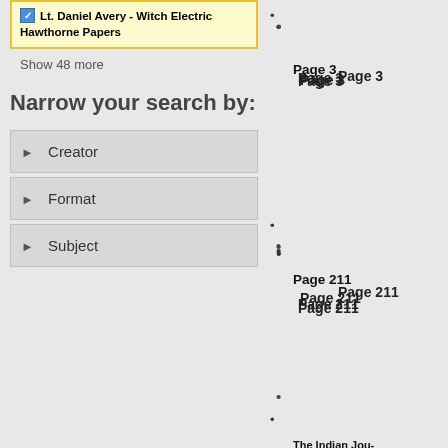Lt. Daniel Avery - witch Electric Hawthorne Papers
Show 48 more
Narrow your search by:
Creator
Format
Subject
Page 3
Page 211
The Indian Jou- January 3, 1884 ""Message of Spiechee,"" Pr- Chief of the Mu- Nation.
Page 268